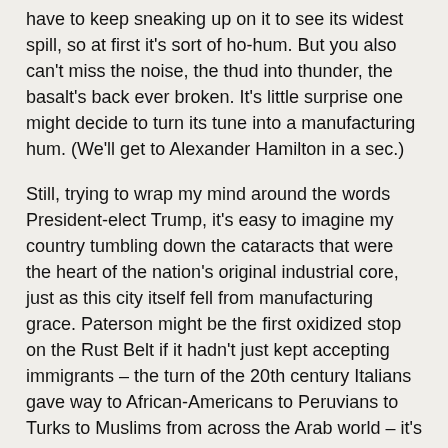have to keep sneaking up on it to see its widest spill, so at first it's sort of ho-hum. But you also can't miss the noise, the thud into thunder, the basalt's back ever broken. It's little surprise one might decide to turn its tune into a manufacturing hum. (We'll get to Alexander Hamilton in a sec.)
Still, trying to wrap my mind around the words President-elect Trump, it's easy to imagine my country tumbling down the cataracts that were the heart of the nation's original industrial core, just as this city itself fell from manufacturing grace. Paterson might be the first oxidized stop on the Rust Belt if it hadn't just kept accepting immigrants – the turn of the 20th century Italians gave way to African-Americans to Peruvians to Turks to Muslims from across the Arab world – it's even nicknamed Little Ramallah. My guess is they didn't vote Donald.
But of course at the right angle the Falls' spray wisps into vivid rainbow, so there's that. Always the soupçon of hope. Of course we're visiting in the fall, so the Falls themselves are less great than they can be post winter run-off, but as a